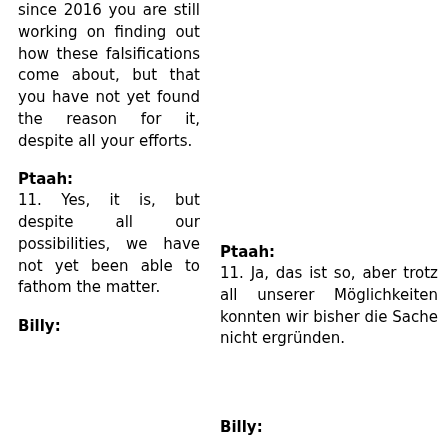since 2016 you are still working on finding out how these falsifications come about, but that you have not yet found the reason for it, despite all your efforts.
Ptaah:
11. Yes, it is, but despite all our possibilities, we have not yet been able to fathom the matter.
Ptaah:
11. Ja, das ist so, aber trotz all unserer Möglichkeiten konnten wir bisher die Sache nicht ergründen.
Billy:
Billy: